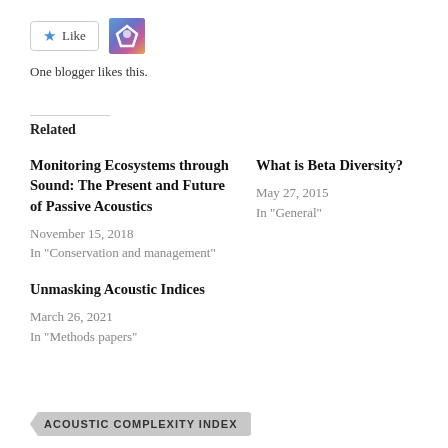[Figure (other): Like button with star icon and blogger avatar thumbnail]
One blogger likes this.
Related
Monitoring Ecosystems through Sound: The Present and Future of Passive Acoustics
November 15, 2018
In "Conservation and management"
What is Beta Diversity?
May 27, 2015
In "General"
Unmasking Acoustic Indices
March 26, 2021
In "Methods papers"
ACOUSTIC COMPLEXITY INDEX